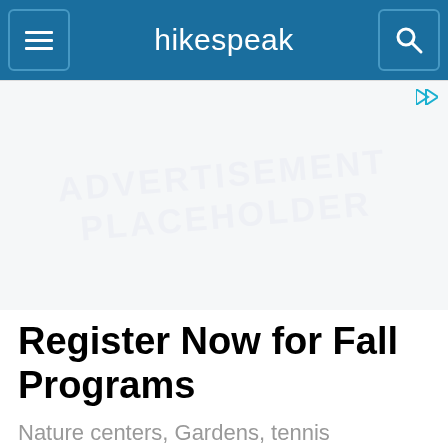hikespeak
[Figure (screenshot): Advertisement placeholder area with faint watermark text]
Register Now for Fall Programs
Nature centers, Gardens, tennis lessons & more. Register for fall...